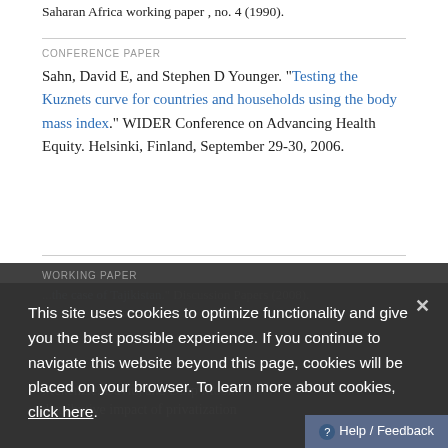Saharan Africa working paper , no. 4 (1990).
CONFERENCE PAPER
Sahn, David E, and Stephen D Younger. "Testing the Kuznets curve for countries and households using the body mass index." WIDER Conference on Advancing Health Equity. Helsinki, Finland, September 29-30, 2006.
WORKING PAPER
This site uses cookies to optimize functionality and give you the best possible experience. If you continue to navigate this website beyond this page, cookies will be placed on your browser. To learn more about cookies, click here.
Mckenzie, David, and Dilip Mookherjee. The distributive impact of privatization...